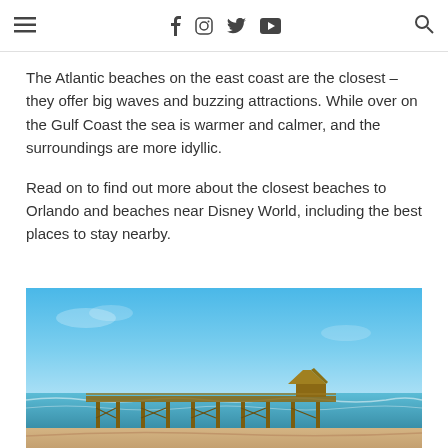≡  f  instagram  twitter  youtube  🔍
The Atlantic beaches on the east coast are the closest – they offer big waves and buzzing attractions. While over on the Gulf Coast the sea is warmer and calmer, and the surroundings are more idyllic.
Read on to find out more about the closest beaches to Orlando and beaches near Disney World, including the best places to stay nearby.
[Figure (photo): A wooden beach pier extending over the ocean under a bright blue sky, with a small thatched hut structure near the end of the pier and waves visible at the shore.]